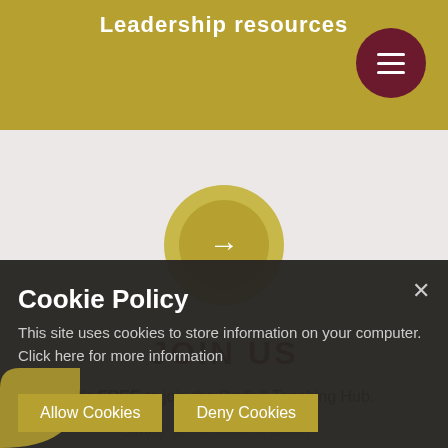Leadership resources
[Figure (other): Circular arrow button with gold background indicating navigation]
JOIN US
It's FREE to join the Redhill Teaching Hub.
Simply get in touch to discover what we offer...
Cookie Policy
This site uses cookies to store information on your computer. Click here for more information
Allow Cookies
Deny Cookies